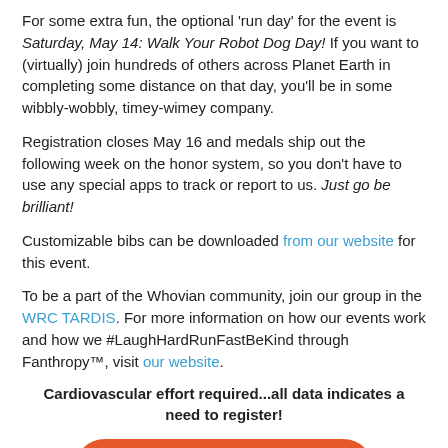For some extra fun, the optional 'run day' for the event is Saturday, May 14: Walk Your Robot Dog Day! If you want to (virtually) join hundreds of others across Planet Earth in completing some distance on that day, you'll be in some wibbly-wobbly, timey-wimey company.
Registration closes May 16 and medals ship out the following week on the honor system, so you don't have to use any special apps to track or report to us. Just go be brilliant!
Customizable bibs can be downloaded from our website for this event.
To be a part of the Whovian community, join our group in the WRC TARDIS. For more information on how our events work and how we #LaughHardRunFastBeKind through Fanthropy™, visit our website.
Cardiovascular effort required...all data indicates a need to register!
REGISTER NOW »
[Figure (other): Row of social media icon buttons: Facebook, Twitter, LinkedIn, Pinterest, Email, and a forward/share button]